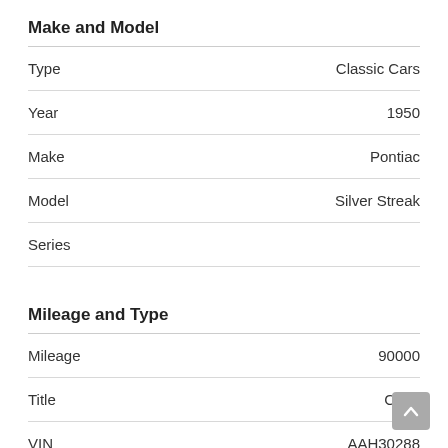Make and Model
| Field | Value |
| --- | --- |
| Type | Classic Cars |
| Year | 1950 |
| Make | Pontiac |
| Model | Silver Streak |
| Series |  |
Mileage and Type
| Field | Value |
| --- | --- |
| Mileage | 90000 |
| Title | Clear |
| VIN | AAH30288 |